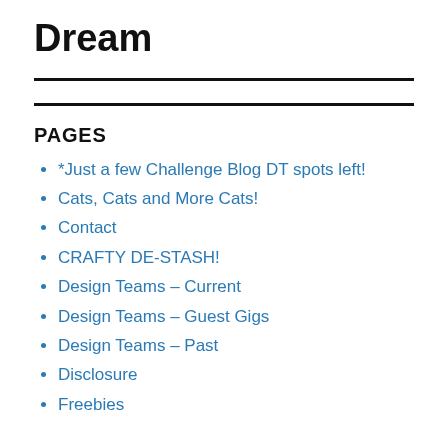Dream
PAGES
*Just a few Challenge Blog DT spots left!
Cats, Cats and More Cats!
Contact
CRAFTY DE-STASH!
Design Teams – Current
Design Teams – Guest Gigs
Design Teams – Past
Disclosure
Freebies